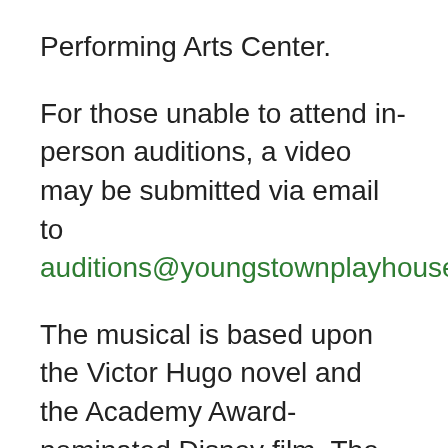Performing Arts Center.
For those unable to attend in-person auditions, a video may be submitted via email to auditions@youngstownplayhouse.org.
The musical is based upon the Victor Hugo novel and the Academy Award-nominated Disney film. The director is seeking actors 18 and older. Actors should be prepared to learn and execute a group dance routine and bring comfortable clothing and footwear for movement. Actors should also prepare two contrasting traditional musical